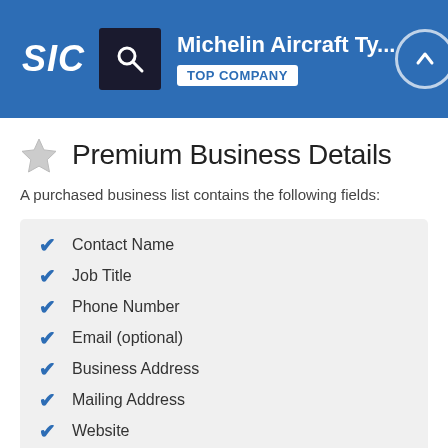Michelin Aircraft Ty... TOP COMPANY
Premium Business Details
A purchased business list contains the following fields:
Contact Name
Job Title
Phone Number
Email (optional)
Business Address
Mailing Address
Website
Latitude / Longitude
Modeled Credit Rating
Square Footage
Public / Private